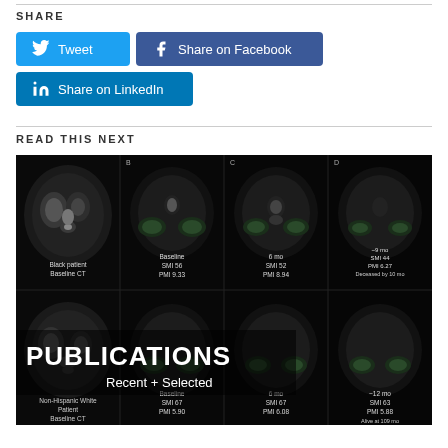SHARE
Tweet | Share on Facebook | Share on LinkedIn
READ THIS NEXT
[Figure (photo): Medical CT scan images showing 2x4 grid of abdominal CT scans for two patients (Black patient and Non-Hispanic White patient) at baseline, 6 months, and ~9 or ~12 months. Labels include SMI and PMI values. Overlay text reads PUBLICATIONS / Recent + Selected.]
Black patient Baseline CT | Baseline SMI 56 PMI 9.33 | 6 mo SMI 52 PMI 8.94 | ~9 mo SMI 44 PMI 6.27 Deceased by 10 mo
Non-Hispanic White Patient Baseline CT | Baseline SMI 67 PMI 5.90 | 6 mo SMI 67 PMI 6.08 | ~12 mo SMI 63 PMI 5.88 Alive at 109 mo